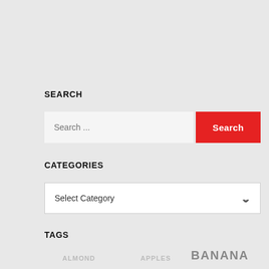SEARCH
[Figure (screenshot): Search input field with placeholder 'Search ...' and a red 'Search' button]
CATEGORIES
[Figure (screenshot): Dropdown select box with 'Select Category' placeholder and a chevron icon]
TAGS
ALMOND
APPLES
BANANA